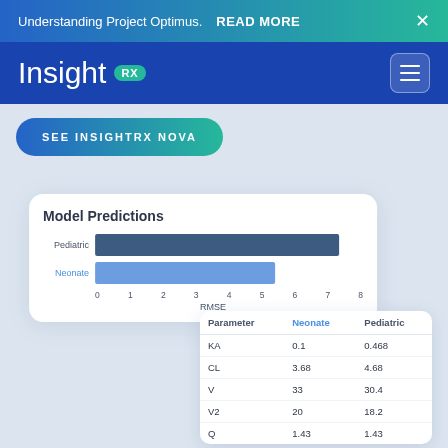Understanding Project Optimus.  READ MORE  ×
Insight RX
SEE INSIGHTRX NOVA
[Figure (bar-chart): Model Predictions]
| Parameter | Neonate | Pediatric |
| --- | --- | --- |
| KA | 0.1 | 0.468 |
| CL | 3.68 | 4.68 |
| V | 33 | 30.4 |
| V2 | 20 | 18.2 |
| Q | 1.43 | 1.43 |